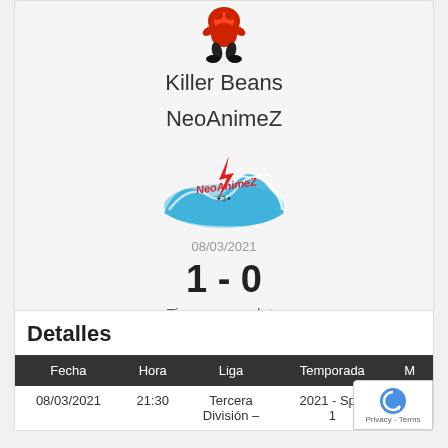[Figure (illustration): Cartoon character in red and orange outfit (Killer Beans mascot) shown from above]
Killer Beans
NeoAnimeZ
[Figure (logo): NeoAnimeZ club logo with wave and lightning bolt design]
08/03/2021
1 - 0
Tiempo completo
Detalles
| Fecha | Hora | Liga | Temporada | M |
| --- | --- | --- | --- | --- |
| 08/03/2021 | 21:30 | Tercera División – | 2021 - Split 1 | 513 |